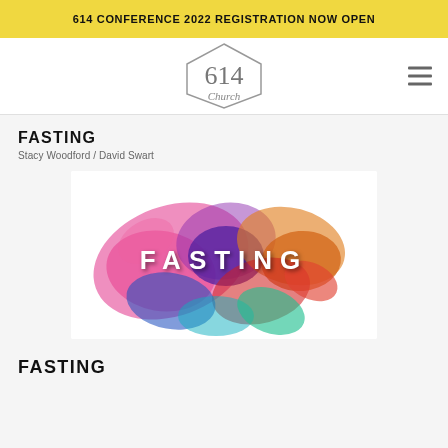614 CONFERENCE 2022 REGISTRATION NOW OPEN
[Figure (logo): 614 Church logo — hexagon outline enclosing the number 614 and the word Church in script]
FASTING
Stacy Woodford / David Swart
[Figure (photo): Colorful powder explosion burst on white background with the word FASTING in white bold letters in the center]
FASTING